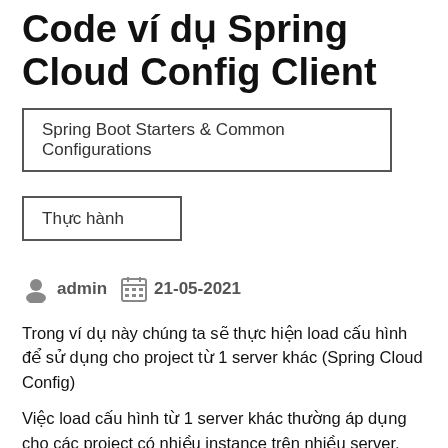Code ví dụ Spring Cloud Config Client
Spring Boot Starters & Common Configurations
Thực hành
admin  21-05-2021
Trong ví dụ này chúng ta sẽ thực hiện load cấu hình để sử dụng cho project từ 1 server khác (Spring Cloud Config)
Việc load cấu hình từ 1 server khác thường áp dụng cho các project có nhiều instance trên nhiều server, mỗi lần đổi cấu hình ta chỉ cần đổi cấu hình trên server config là được